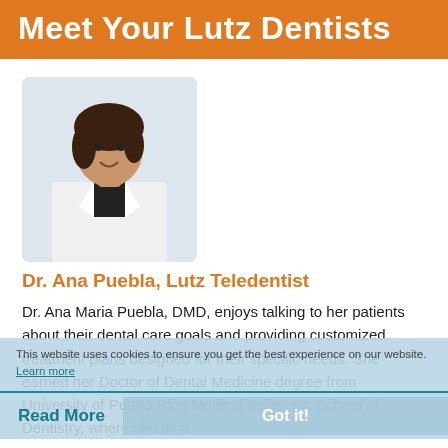Meet Your Lutz Dentists
[Figure (photo): Portrait photo of Dr. Ana Puebla, a woman with dark hair wearing a white lab coat, smiling.]
Dr. Ana Puebla, Lutz Teledentist
Dr. Ana Maria Puebla, DMD, enjoys talking to her patients about their dental care goals and providing customized treatment plans designed for their specific needs. She earned her Doctor of Dental Medicine degree from University of Puerto Rico Medical Sciences, School of Dentistry, where she also
This website uses cookies to ensure you get the best experience on our website. Learn more
Read More
Got it!